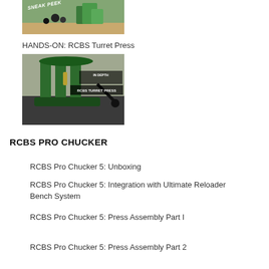[Figure (photo): Thumbnail image with 'SNEAK PEEK' text overlay showing RCBS reloading equipment on a green background]
HANDS-ON: RCBS Turret Press
[Figure (photo): Thumbnail image showing RCBS Turret Press (green reloading press) with 'IN DEPTH RCBS TURRET PRESS' text overlay]
RCBS PRO CHUCKER
RCBS Pro Chucker 5: Unboxing
RCBS Pro Chucker 5: Integration with Ultimate Reloader Bench System
RCBS Pro Chucker 5: Press Assembly Part I
RCBS Pro Chucker 5: Press Assembly Part 2